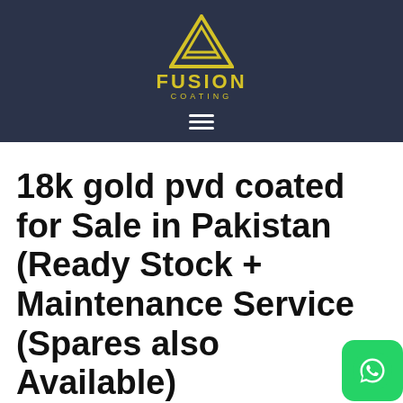[Figure (logo): Fusion Coating logo: yellow triangle/geometric mark above text FUSION COATING in yellow, on dark navy background, with hamburger menu icon below]
18k gold pvd coated for Sale in Pakistan (Ready Stock + Maintenance Service (Spares also Available)